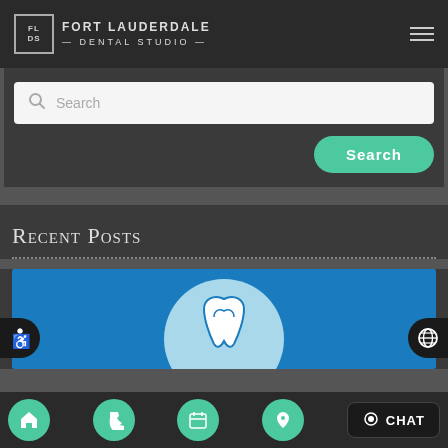[Figure (logo): Fort Lauderdale Dental Studio logo with FLDS initials in a bracket box]
RECENT POSTS
[Figure (screenshot): Search bar with magnifying glass icon and placeholder text 'Search', followed by a green Search button]
[Figure (photo): Blog post thumbnail showing a dental crown icon on blue background with light blue circle]
[Figure (screenshot): Bottom navigation bar with home, phone, calendar, location icons (green circles) and CHAT button]